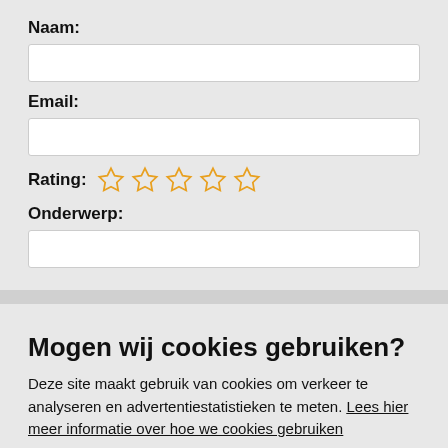Naam:
Email:
Rating: ☆ ☆ ☆ ☆ ☆
Onderwerp:
Mogen wij cookies gebruiken?
Deze site maakt gebruik van cookies om verkeer te analyseren en advertentiestatistieken te meten. Lees hier meer informatie over hoe we cookies gebruiken